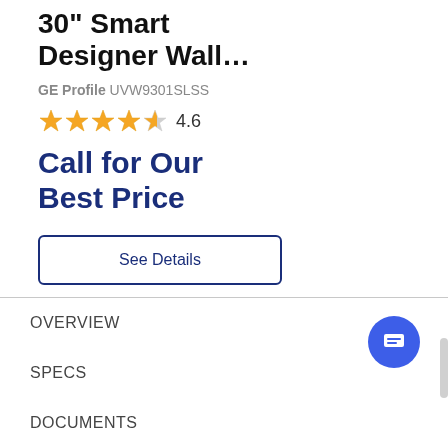30" Smart Designer Wall…
GE Profile UVW9301SLSS
4.6 stars rating
Call for Our Best Price
See Details
OVERVIEW
SPECS
DOCUMENTS